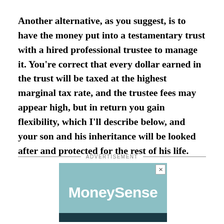Another alternative, as you suggest, is to have the money put into a testamentary trust with a hired professional trustee to manage it. You're correct that every dollar earned in the trust will be taxed at the highest marginal tax rate, and the trustee fees may appear high, but in return you gain flexibility, which I'll describe below, and your son and his inheritance will be looked after and protected for the rest of his life.
ADVERTISEMENT
[Figure (logo): MoneySense advertisement banner with teal/light blue background and white bold MoneySense text, with a dark teal bar at the bottom]